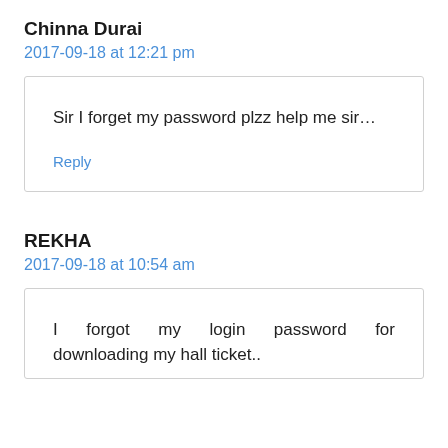Chinna Durai
2017-09-18 at 12:21 pm
Sir I forget my password plzz help me sir…
Reply
REKHA
2017-09-18 at 10:54 am
I forgot my login password for downloading my hall ticket..